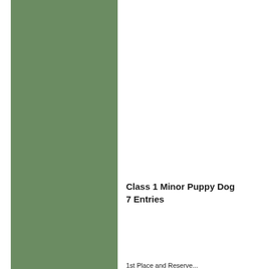[Figure (other): Solid muted green vertical bar/column on the left side of the page]
Class 1 Minor Puppy Dog
7 Entries
1st Place and Reserve...